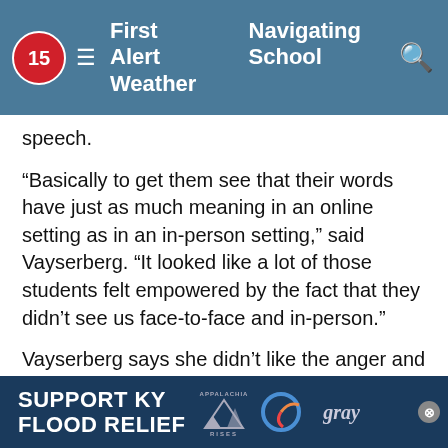First Alert Weather | Navigating School
speech.
“Basically to get them see that their words have just as much meaning in an online setting as in an in-person setting,” said Vayserberg. “It looked like a lot of those students felt empowered by the fact that they didn’t see us face-to-face and in-person.”
Vayserberg says she didn’t like the anger and strong reaction from some of her peers.
“It’s taken a longtime, but the more people we can get, the more confident we’ll all feel,” said Vayserberg.
[Figure (other): SUPPORT KY FLOOD RELIEF advertisement banner with Appalachia Rises mountain logo and Gray television logo]